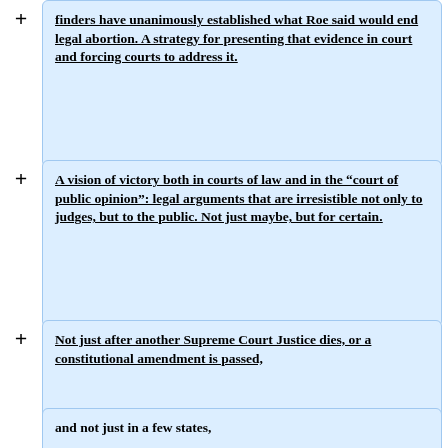finders have unanimously established what Roe said would end legal abortion. A strategy for presenting that evidence in court and forcing courts to address it.
A vision of victory both in courts of law and in the “court of public opinion”: legal arguments that are irresistible not only to judges, but to the public. Not just maybe, but for certain.
Not just after another Supreme Court Justice dies, or a constitutional amendment is passed,
and not just in a few states,